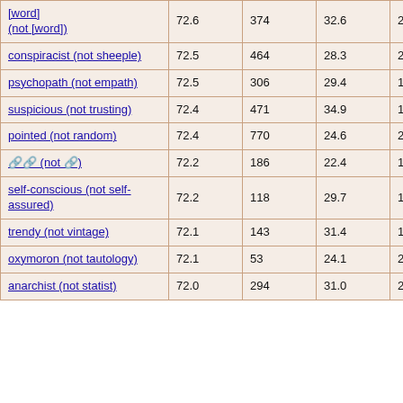| [word] (not [word]) | 72.6 | 374 | 32.6 | 26 |
| conspiracist (not sheeple) | 72.5 | 464 | 28.3 | 27 |
| psychopath (not empath) | 72.5 | 306 | 29.4 | 17 |
| suspicious (not trusting) | 72.4 | 471 | 34.9 | 19 |
| pointed (not random) | 72.4 | 770 | 24.6 | 29 |
| [?] (not [?]) | 72.2 | 186 | 22.4 | 17 |
| self-conscious (not self-assured) | 72.2 | 118 | 29.7 | 19 |
| trendy (not vintage) | 72.1 | 143 | 31.4 | 18 |
| oxymoron (not tautology) | 72.1 | 53 | 24.1 | 27 |
| anarchist (not statist) | 72.0 | 294 | 31.0 | 24 |